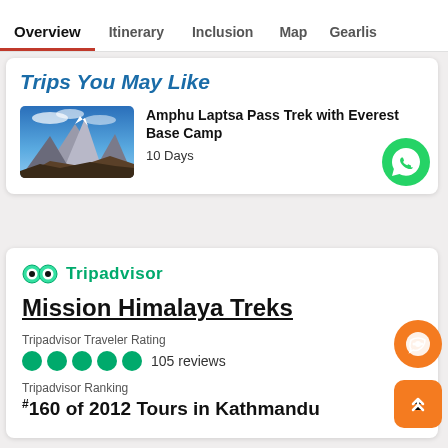Overview | Itinerary | Inclusion | Map | Gearlis
Trips You May Like
Amphu Laptsa Pass Trek with Everest Base Camp
10 Days
[Figure (photo): Mountain landscape with blue sky]
Tripadvisor
Mission Himalaya Treks
Tripadvisor Traveler Rating
●●●●● 105 reviews
Tripadvisor Ranking
#160 of 2012 Tours in Kathmandu